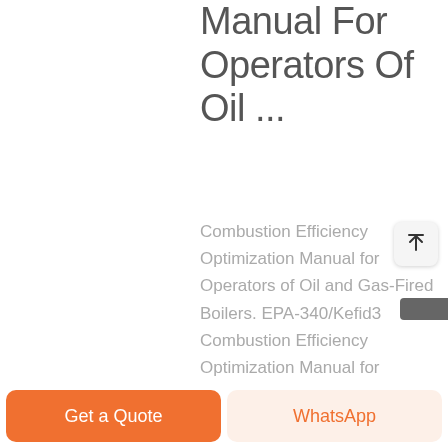Manual For Operators Of Oil ...
Combustion Efficiency Optimization Manual for Operators of Oil and Gas-Fired Boilers. EPA-340/Kefid3 Combustion Efficiency Optimization Manual for Operators of Oil- and Gas-Fired Boilers by PEDCo Environmental, Inc. 11499 Chester Road Cincinnati, Ohio 45246 Contract No. Kefid10 Task...